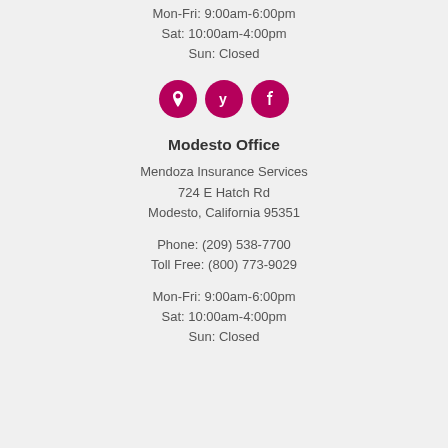Mon-Fri: 9:00am-6:00pm
Sat: 10:00am-4:00pm
Sun: Closed
[Figure (infographic): Three pink circular social media / map icons: location pin, Yelp, and Facebook]
Modesto Office
Mendoza Insurance Services
724 E Hatch Rd
Modesto, California 95351
Phone: (209) 538-7700
Toll Free: (800) 773-9029
Mon-Fri: 9:00am-6:00pm
Sat: 10:00am-4:00pm
Sun: Closed